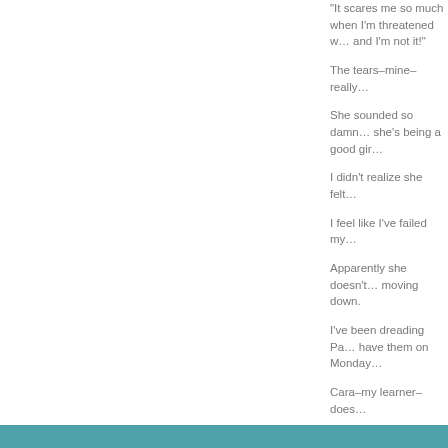“It scares me so much when I’m threatened w… and I’m not it!”
The tears–mine–really…
She sounded so damn… she’s being a good gir…
I didn’t realize she felt…
I feel like I’ve failed my…
Apparently she doesn’t… moving down.
I’ve been dreading Pa… have them on Monday…
Cara–my learner–does…
I have to fix this.